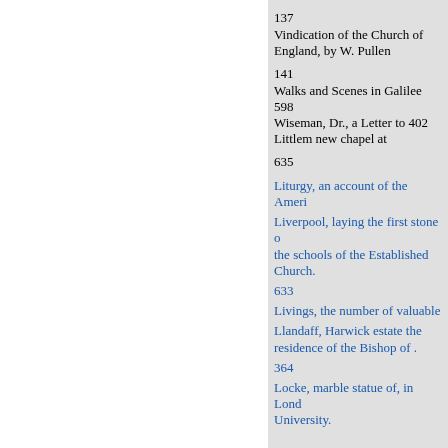137
Vindication of the Church of England, by W. Pullen
141
Walks and Scenes in Galilee 598
Wiseman, Dr., a Letter to 402
Littlem new chapel at
635
Liturgy, an account of the Ameri
Liverpool, laying the first stone of the schools of the Established Church.
633
Livings, the number of valuable
Llandaff, Harwick estate the residence of the Bishop of .
364
Locke, marble statue of, in London University.